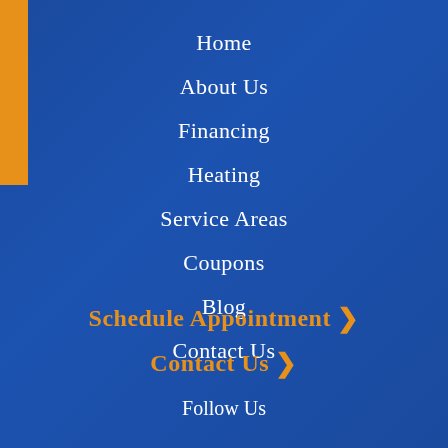[Figure (other): Orange vertical bar on the left side of the page]
Home
About Us
Financing
Heating
Service Areas
Coupons
Blog
Contact Us
Schedule Appointment >
Contact Us >
Follow Us